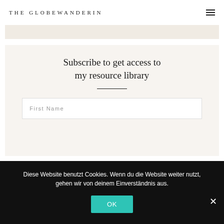THE GLOBEWANDERIN
[Figure (screenshot): Partial image strip showing a light beige/cream colored background, top portion of a webpage image]
Subscribe to get access to my resource library
First Name
Diese Website benutzt Cookies. Wenn du die Website weiter nutzt, gehen wir von deinem Einverständnis aus.
OK